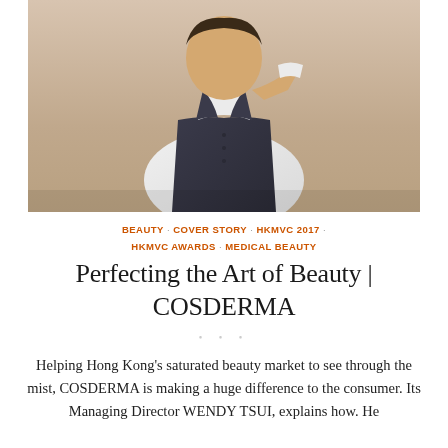[Figure (photo): Portrait photo of a person wearing a white shirt, dark vest, and teal bow tie, adjusting their bow tie against a neutral beige background]
BEAUTY · COVER STORY · HKMVC 2017 · HKMVC AWARDS · MEDICAL BEAUTY
Perfecting the Art of Beauty | COSDERMA
Helping Hong Kong's saturated beauty market to see through the mist, COSDERMA is making a huge difference to the consumer. Its Managing Director WENDY TSUI, explains how. He